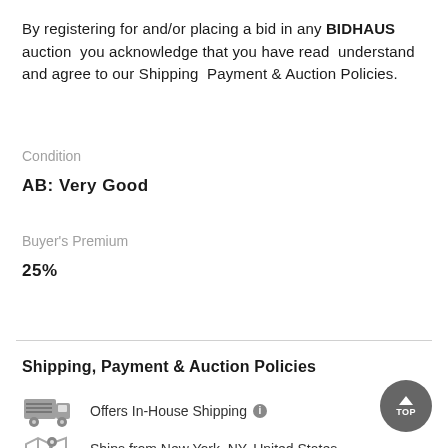By registering for and/or placing a bid in any BIDHAUS auction you acknowledge that you have read understand and agree to our Shipping Payment & Auction Policies.
Condition
AB: Very Good
Buyer's Premium
25%
Shipping, Payment & Auction Policies
[Figure (illustration): Delivery truck icon with gray lines]
Offers In-House Shipping
[Figure (illustration): Map/location pin icon with gray lines]
Ships from New York, NY, United States